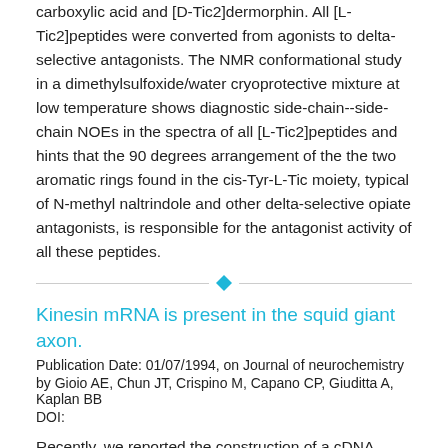carboxylic acid and [D-Tic2]dermorphin. All [L-Tic2]peptides were converted from agonists to delta-selective antagonists. The NMR conformational study in a dimethylsulfoxide/water cryoprotective mixture at low temperature shows diagnostic side-chain--side-chain NOEs in the spectra of all [L-Tic2]peptides and hints that the 90 degrees arrangement of the the two aromatic rings found in the cis-Tyr-L-Tic moiety, typical of N-methyl naltrindole and other delta-selective opiate antagonists, is responsible for the antagonist activity of all these peptides.
[Figure (other): Horizontal divider line with a cyan diamond shape in the center]
Kinesin mRNA is present in the squid giant axon.
Publication Date: 01/07/1994, on Journal of neurochemistry
by Gioio AE, Chun JT, Crispino M, Capano CP, Giuditta A, Kaplan BB
DOI:
Recently, we reported the construction of a cDNA library encoding a heterogeneous population of polyadenylated